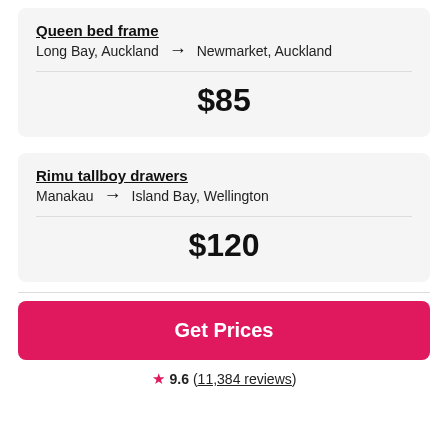Queen bed frame
Long Bay, Auckland → Newmarket, Auckland
$85
Rimu tallboy drawers
Manakau → Island Bay, Wellington
$120
Get Prices
9.6 (11,384 reviews)